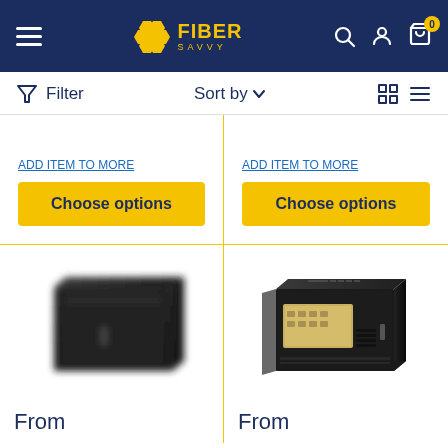Fiber Savvy — navigation header with logo, search, account, and cart icons
Filter   Sort by   [grid view] [list view]
Choose options (left product)
Choose options (right product)
[Figure (photo): Black wall-mount network server rack cabinet, closed glass door, blurred photo]
From
[Figure (photo): Black wall-mount network server rack cabinet, open glass door showing interior with patch panel, clear photo]
From